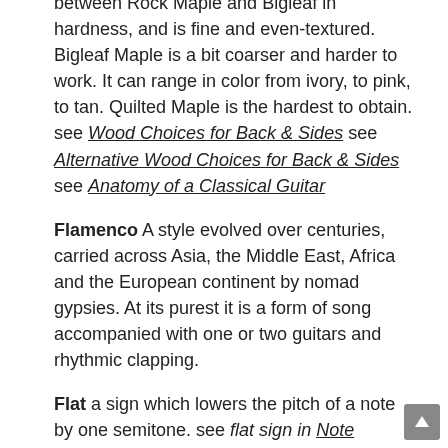between Rock Maple and Bigleaf in hardness, and is fine and even-textured. Bigleaf Maple is a bit coarser and harder to work. It can range in color from ivory, to pink, to tan. Quilted Maple is the hardest to obtain. see Wood Choices for Back & Sides see Alternative Wood Choices for Back & Sides see Anatomy of a Classical Guitar
Flamenco A style evolved over centuries, carried across Asia, the Middle East, Africa and the European continent by nomad gypsies. At its purest it is a form of song accompanied with one or two guitars and rhythmic clapping.
Flat a sign which lowers the pitch of a note by one semitone. see flat sign in Note Symbols
Flat to play under the general pitch. see Note Symbols
Flat Key Signatures see Table of Key Signatures